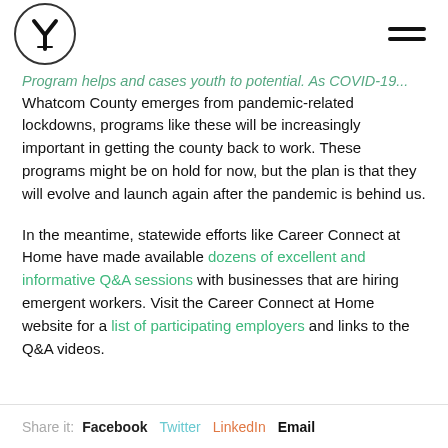[Y logo] [hamburger menu]
Program helps and cases youth to potential. As COVID-19... Whatcom County emerges from pandemic-related lockdowns, programs like these will be increasingly important in getting the county back to work. These programs might be on hold for now, but the plan is that they will evolve and launch again after the pandemic is behind us.
In the meantime, statewide efforts like Career Connect at Home have made available dozens of excellent and informative Q&A sessions with businesses that are hiring emergent workers. Visit the Career Connect at Home website for a list of participating employers and links to the Q&A videos.
Share it: Facebook Twitter LinkedIn Email